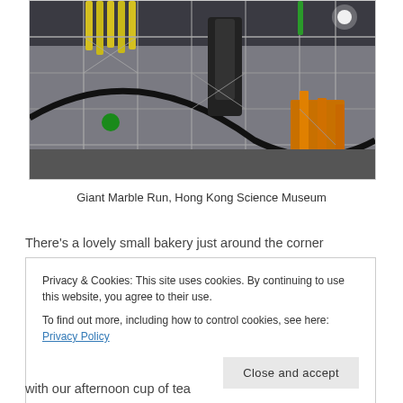[Figure (photo): Interior of a large industrial or museum space showing the Giant Marble Run at Hong Kong Science Museum — complex scaffolding, pipes, ramps, and mechanical components in grey, yellow, and orange tones, with a curved black track visible.]
Giant Marble Run, Hong Kong Science Museum
There's a lovely small bakery just around the corner
Privacy & Cookies: This site uses cookies. By continuing to use this website, you agree to their use.
To find out more, including how to control cookies, see here: Privacy Policy
with our afternoon cup of tea